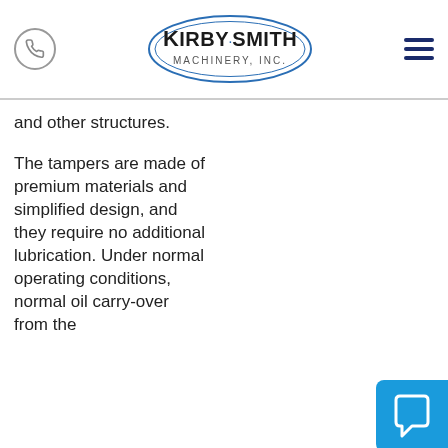Kirby-Smith Machinery, Inc. — navigation header with phone icon, logo, and hamburger menu
and other structures.

The tampers are made of premium materials and simplified design, and they require no additional lubrication. Under normal operating conditions, normal oil carry-over from the
[Figure (illustration): Blue speech bubble / chat icon button at bottom right]